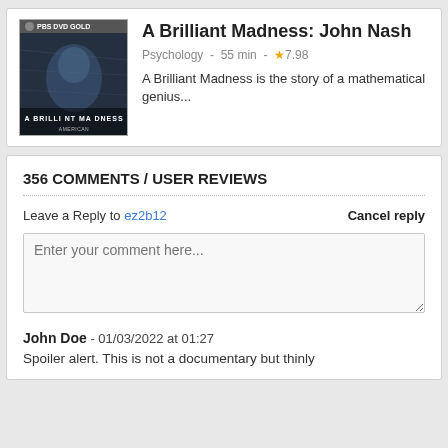[Figure (photo): DVD cover for 'A Brilliant Madness' PBS DVD Gold edition, showing a black and white portrait of a man on a dark blue background]
A Brilliant Madness: John Nash
Psychology - 55 min - ★7.98
A Brilliant Madness is the story of a mathematical genius...
356 COMMENTS / USER REVIEWS
Leave a Reply to ez2b12    Cancel reply
Enter your comment here...
John Doe - 01/03/2022 at 01:27
Spoiler alert. This is not a documentary but thinly